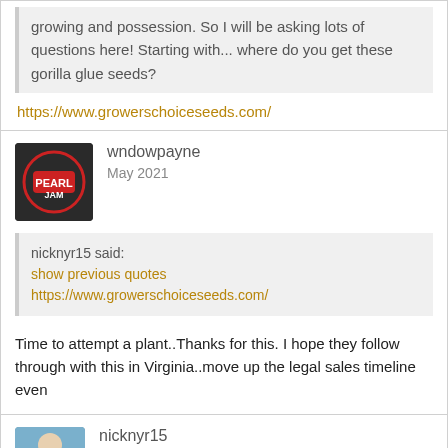growing and possession.  So I will be asking lots of questions here!  Starting with... where do you get these gorilla glue seeds?
https://www.growerschoiceseeds.com/
wndowpayne
May 2021
nicknyr15 said:
show previous quotes
https://www.growerschoiceseeds.com/
Time to attempt a plant..Thanks for this. I hope they follow through with this in Virginia..move up the legal sales timeline even
nicknyr15
May 2021